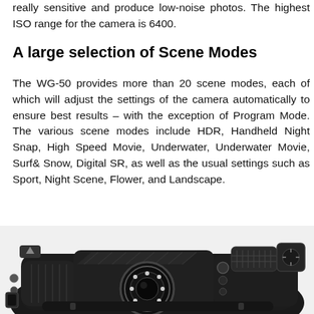really sensitive and produce low-noise photos. The highest ISO range for the camera is 6400.
A large selection of Scene Modes
The WG-50 provides more than 20 scene modes, each of which will adjust the settings of the camera automatically to ensure best results – with the exception of Program Mode. The various scene modes include HDR, Handheld Night Snap, High Speed Movie, Underwater, Underwater Movie, Surf& Snow, Digital SR, as well as the usual settings such as Sport, Night Scene, Flower, and Landscape.
[Figure (photo): Top-down view of a black rugged digital camera (Pentax WG-50) showing the camera body with lens, controls, and flash unit in black and white/grayscale.]